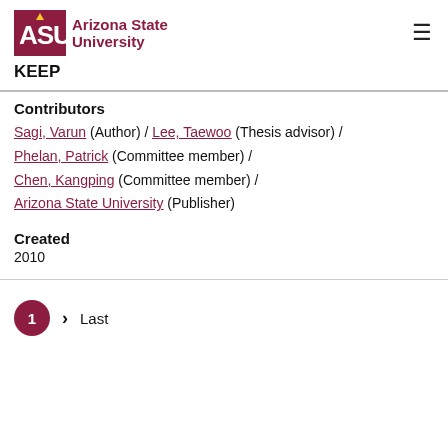ASU Arizona State University
KEEP
Contributors
Sagi, Varun (Author) / Lee, Taewoo (Thesis advisor) / Phelan, Patrick (Committee member) / Chen, Kangping (Committee member) / Arizona State University (Publisher)
Created
2010
1 > Last